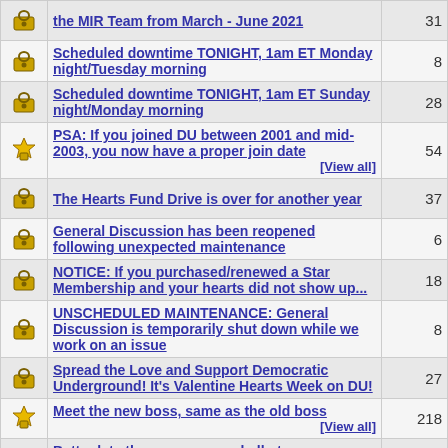|  | Topic | Replies |
| --- | --- | --- |
| [lock icon] | the MIR Team from March - June 2021 | 31 |
| [lock icon] | Scheduled downtime TONIGHT, 1am ET Monday night/Tuesday morning | 8 |
| [lock icon] | Scheduled downtime TONIGHT, 1am ET Sunday night/Monday morning | 28 |
| [star icon] | PSA: If you joined DU between 2001 and mid-2003, you now have a proper join date [View all] | 54 |
| [lock icon] | The Hearts Fund Drive is over for another year | 37 |
| [lock icon] | General Discussion has been reopened following unexpected maintenance | 6 |
| [lock icon] | NOTICE: If you purchased/renewed a Star Membership and your hearts did not show up... | 18 |
| [lock icon] | UNSCHEDULED MAINTENANCE: General Discussion is temporarily shut down while we work on an issue | 8 |
| [lock icon] | Spread the Love and Support Democratic Underground! It's Valentine Hearts Week on DU! | 27 |
| [star icon] | Meet the new boss, same as the old boss [View all] | 218 |
| [lock icon] | Better late than never -- say hello to our new MIR Team! | 5 |